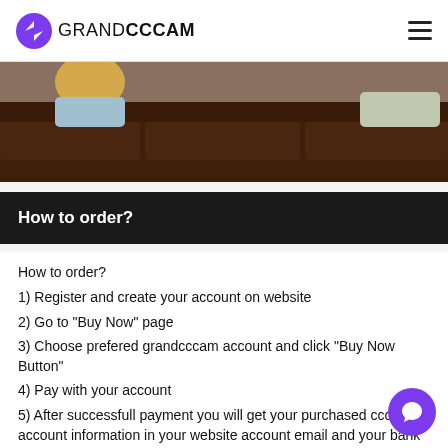GRANDCCCAM
[Figure (photo): Partial image of people sitting on a dark brown leather couch, cropped at the top of the page]
How to order?
How to order?
1) Register and create your account on website
2) Go to "Buy Now" page
3) Choose prefered grandcccam account and click "Buy Now Button"
4) Pay with your account
5) After successfull payment you will get your purchased cccam account information in your website account email and your bank account email
6) Enjoy!
Note: You can also see your purchased account information